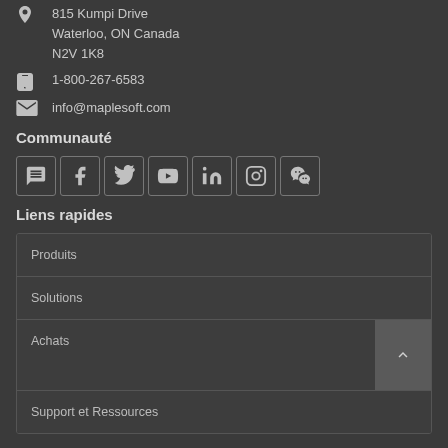815 Kumpi Drive
Waterloo, ON Canada
N2V 1K8
1-800-267-6583
info@maplesoft.com
Communauté
[Figure (infographic): Row of 7 social media icon buttons in bordered squares: community/chat, Facebook, Twitter, YouTube, LinkedIn, Instagram, WeChat]
Liens rapides
Produits
Solutions
Achats
Support et Ressources